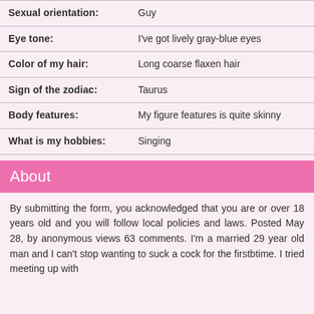| Attribute | Value |
| --- | --- |
| Sexual orientation: | Guy |
| Eye tone: | I've got lively gray-blue eyes |
| Color of my hair: | Long coarse flaxen hair |
| Sign of the zodiac: | Taurus |
| Body features: | My figure features is quite skinny |
| What is my hobbies: | Singing |
About
By submitting the form, you acknowledged that you are or over 18 years old and you will follow local policies and laws. Posted May 28, by anonymous views 63 comments. I'm a married 29 year old man and I can't stop wanting to suck a cock for the firstbtime. I tried meeting up with